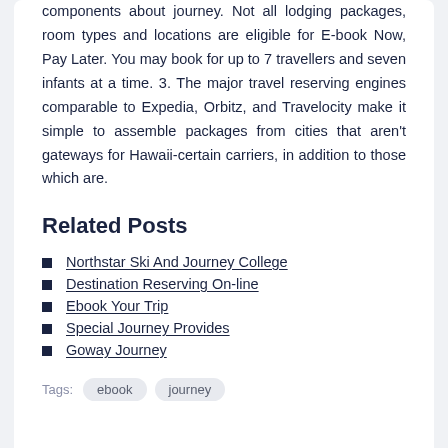components about journey. Not all lodging packages, room types and locations are eligible for E-book Now, Pay Later. You may book for up to 7 travellers and seven infants at a time. 3. The major travel reserving engines comparable to Expedia, Orbitz, and Travelocity make it simple to assemble packages from cities that aren't gateways for Hawaii-certain carriers, in addition to those which are.
Related Posts
Northstar Ski And Journey College
Destination Reserving On-line
Ebook Your Trip
Special Journey Provides
Goway Journey
Tags: ebook journey